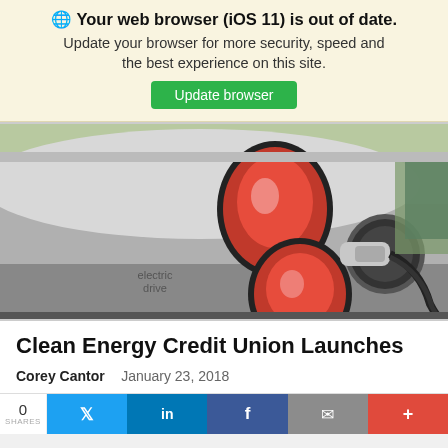🌐 Your web browser (iOS 11) is out of date. Update your browser for more security, speed and the best experience on this site. Update browser
[Figure (photo): Close-up photo of the rear of a silver Smart electric drive car with a charging cable plugged in, showing two red teardrop-shaped tail lights and an EV charging connector inserted into the charge port.]
Clean Energy Credit Union Launches
Corey Cantor   January 23, 2018
0 SHARES — social share buttons: Twitter, LinkedIn, Facebook, Email, More